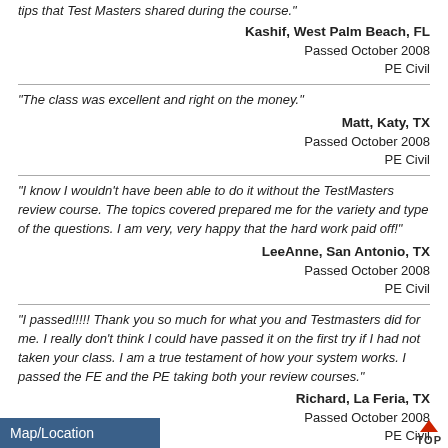tips that Test Masters shared during the course.”
Kashif, West Palm Beach, FL
Passed October 2008
PE Civil
“The class was excellent and right on the money.”
Matt, Katy, TX
Passed October 2008
PE Civil
“I know I wouldn’t have been able to do it without the TestMasters review course. The topics covered prepared me for the variety and type of the questions. I am very, very happy that the hard work paid off!”
LeeAnne, San Antonio, TX
Passed October 2008
PE Civil
“I passed!!!!! Thank you so much for what you and Testmasters did for me. I really don’t think I could have passed it on the first try if I had not taken your class. I am a true testament of how your system works. I passed the FE and the PE taking both your review courses.”
Richard, La Feria, TX
Passed October 2008
PE Civil
Map/Location